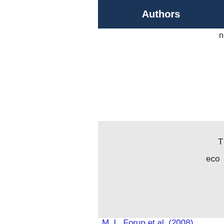Authors
ne
T
eco
ne
M. L. Forup et al. (2008)
T
eco
M. L. Forup et al. (2008)
ne